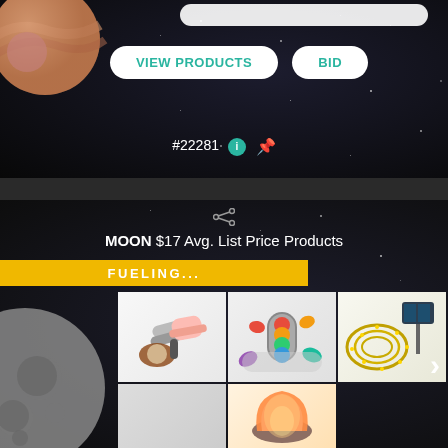[Figure (screenshot): Top section showing a dark starfield background with a planet image on the upper left, two white pill-shaped buttons labeled VIEW PRODUCTS and BID, and an auction ID #22281 with info and clip icons below.]
[Figure (screenshot): Bottom auction card section showing a share icon, title MOON $17 Avg. List Price Products, a yellow FUELING... progress bar, a moon graphic on the left, and a grid of product images including a garlic press, pill organizer, solar string lights, and a salt lamp.]